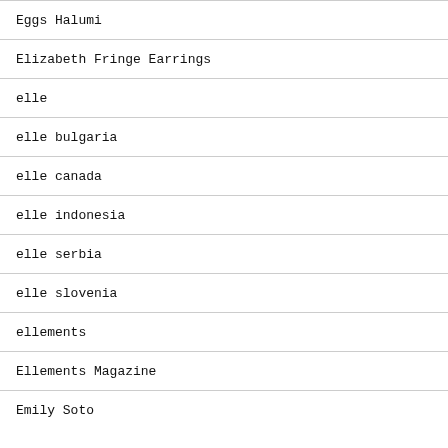Eggs Halumi
Elizabeth Fringe Earrings
elle
elle bulgaria
elle canada
elle indonesia
elle serbia
elle slovenia
ellements
Ellements Magazine
Emily Soto